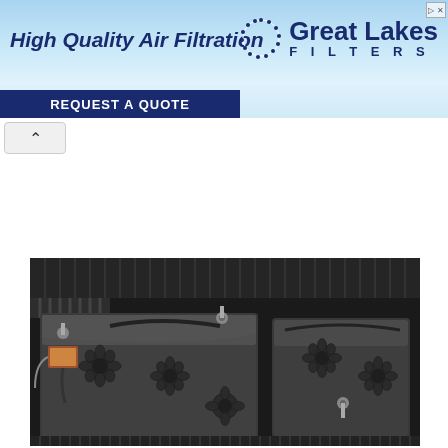[Figure (infographic): Advertisement banner for Great Lakes Filters - High Quality Air Filtration with a light blue sky background, company logo with dotted circle, and REQUEST A QUOTE call-to-action button]
[Figure (photo): Close-up photograph of a car battery top view inside an engine bay, showing the black battery case with multiple cell caps/vents and terminal connectors with wiring]